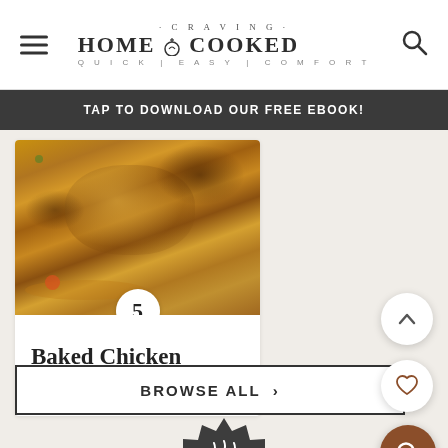CRAVING HOME COOKED | QUICK | EASY | COMFORT
TAP TO DOWNLOAD OUR FREE EBOOK!
[Figure (photo): Close-up photo of baked chicken breast with golden-brown caramelized glaze and sauce on a white plate]
5
Baked Chicken Breast
BROWSE ALL >
[Figure (logo): Craving Home Cooked badge logo with house, steam, and fork/knife icon in dark gray]